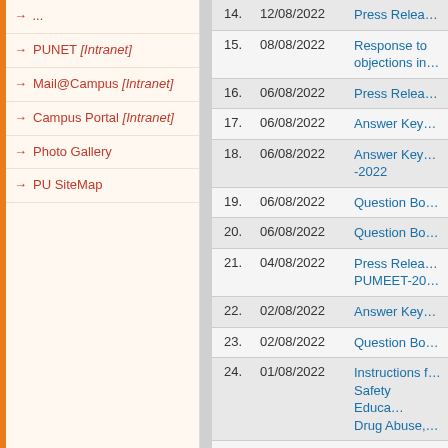PUNET [Intranet]
Mail@Campus [Intranet]
Campus Portal [Intranet]
Photo Gallery
PU SiteMap
| # | Date | Title |
| --- | --- | --- |
| 14. | 12/08/2022 | Press Relea… |
| 15. | 08/08/2022 | Response to objections in… |
| 16. | 06/08/2022 | Press Relea… |
| 17. | 06/08/2022 | Answer Key… |
| 18. | 06/08/2022 | Answer Key… -2022 |
| 19. | 06/08/2022 | Question Bo… |
| 20. | 06/08/2022 | Question Bo… |
| 21. | 04/08/2022 | Press Relea… PUMEET-20… |
| 22. | 02/08/2022 | Answer Key… |
| 23. | 02/08/2022 | Question Bo… |
| 24. | 01/08/2022 | Instructions f… Safety Educa… Drug Abuse,… |
| 25. | 27/07/2022 | LAST DATE… Environment… and Children… |
| 26. | 27/07/2022 | Response to objections in… |